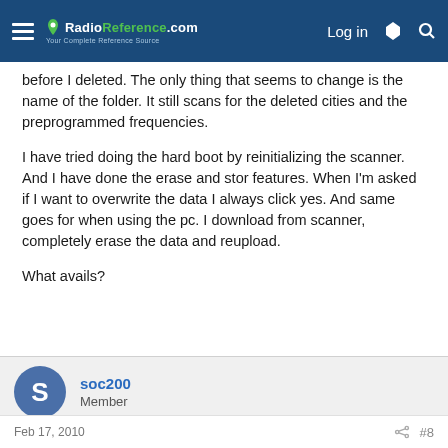RadioReference.com — Your Complete Reference Source | Log in
before I deleted. The only thing that seems to change is the name of the folder. It still scans for the deleted cities and the preprogrammed frequencies.
I have tried doing the hard boot by reinitializing the scanner. And I have done the erase and stor features. When I'm asked if I want to overwrite the data I always click yes. And same goes for when using the pc. I download from scanner, completely erase the data and reupload.
What avails?
soc200
Member
Feb 17, 2010  #8